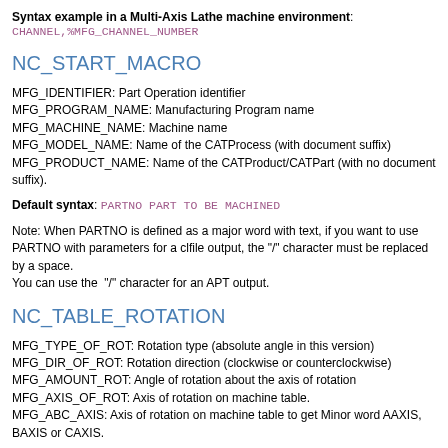Syntax example in a Multi-Axis Lathe machine environment: CHANNEL,%MFG_CHANNEL_NUMBER
NC_START_MACRO
MFG_IDENTIFIER: Part Operation identifier
MFG_PROGRAM_NAME: Manufacturing Program name
MFG_MACHINE_NAME: Machine name
MFG_MODEL_NAME: Name of the CATProcess (with document suffix)
MFG_PRODUCT_NAME: Name of the CATProduct/CATPart (with no document suffix).
Default syntax: PARTNO PART TO BE MACHINED
Note: When PARTNO is defined as a major word with text, if you want to use PARTNO with parameters for a clfile output, the "/" character must be replaced by a space.
You can use the "/" character for an APT output.
NC_TABLE_ROTATION
MFG_TYPE_OF_ROT: Rotation type (absolute angle in this version)
MFG_DIR_OF_ROT: Rotation direction (clockwise or counterclockwise)
MFG_AMOUNT_ROT: Angle of rotation about the axis of rotation
MFG_AXIS_OF_ROT: Axis of rotation on machine table.
MFG_ABC_AXIS: Axis of rotation on machine table to get Minor word AAXIS, BAXIS or CAXIS.
Default syntax: ROTABL/%MFG_AMOUNT_ROT,%MFG_DIR_OF_ROT